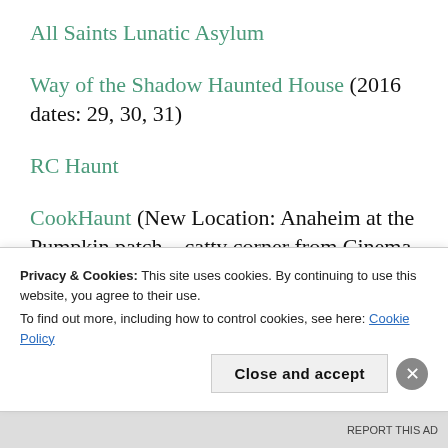All Saints Lunatic Asylum
Way of the Shadow Haunted House (2016 dates: 29, 30, 31)
RC Haunt
CookHaunt (New Location: Anaheim at the Pumpkin patch – catty corner from Cinema City)
Dead Zone 805
Privacy & Cookies: This site uses cookies. By continuing to use this website, you agree to their use. To find out more, including how to control cookies, see here: Cookie Policy
Close and accept